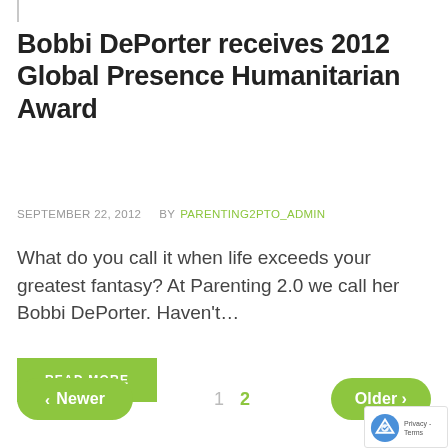Bobbi DePorter receives 2012 Global Presence Humanitarian Award
SEPTEMBER 22, 2012   BY PARENTING2PTO_ADMIN
What do you call it when life exceeds your greatest fantasy? At Parenting 2.0 we call her Bobbi DePorter. Haven't…
READ MORE
‹ Newer   1  2  Older ›